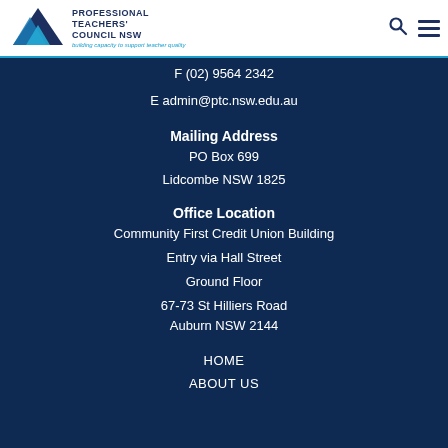[Figure (logo): Professional Teachers' Council NSW logo with blue triangle shapes and tagline 'building capacity to support teacher quality']
F (02) 9564 2342
E admin@ptc.nsw.edu.au
Mailing Address
PO Box 699
Lidcombe NSW 1825
Office Location
Community First Credit Union Building
Entry via Hall Street
Ground Floor
67-73 St Hilliers Road
Auburn NSW 2144
HOME
ABOUT US